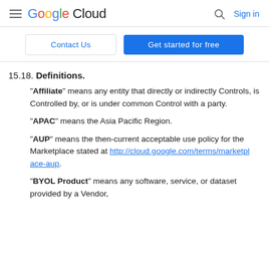Google Cloud  Sign in
Contact Us  Get started for free
15.18. Definitions.
"Affiliate" means any entity that directly or indirectly Controls, is Controlled by, or is under common Control with a party.
"APAC" means the Asia Pacific Region.
"AUP" means the then-current acceptable use policy for the Marketplace stated at http://cloud.google.com/terms/marketplace-aup.
"BYOL Product" means any software, service, or dataset provided by a Vendor,